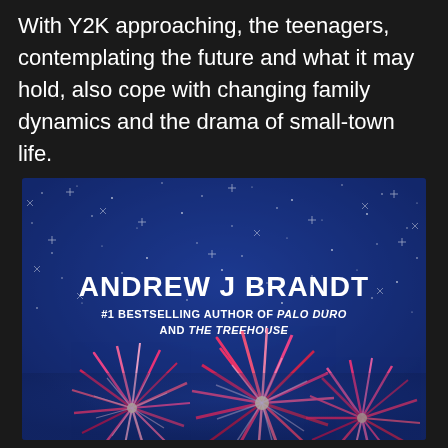With Y2K approaching, the teenagers, contemplating the future and what it may hold, also cope with changing family dynamics and the drama of small-town life.
[Figure (illustration): Book cover with a dark blue night sky background filled with stars and sparkle effects. In the center, bold white text reads 'ANDREW J BRANDT' with subtitle '#1 BESTSELLING AUTHOR OF PALO DURO AND THE TREEHOUSE' in smaller white text. The bottom portion shows colorful fireworks bursting in red, pink, and golden hues against the night sky.]